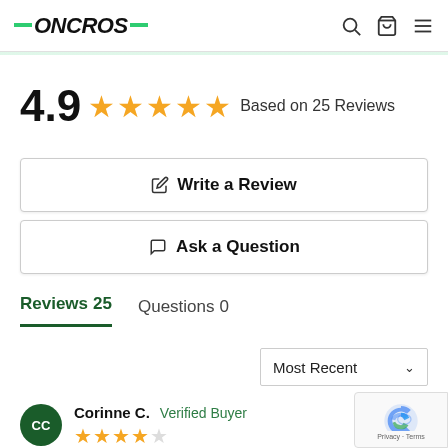ONCROS
4.9 ★★★★★ Based on 25 Reviews
✎ Write a Review
💬 Ask a Question
Reviews 25   Questions 0
Most Recent
Corinne C. Verified Buyer ★★★★☆